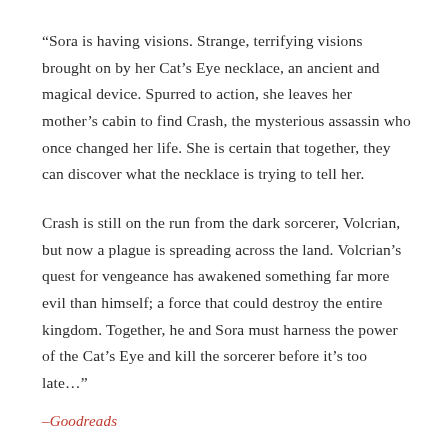“Sora is having visions. Strange, terrifying visions brought on by her Cat’s Eye necklace, an ancient and magical device. Spurred to action, she leaves her mother’s cabin to find Crash, the mysterious assassin who once changed her life. She is certain that together, they can discover what the necklace is trying to tell her.
Crash is still on the run from the dark sorcerer, Volcrian, but now a plague is spreading across the land. Volcrian’s quest for vengeance has awakened something far more evil than himself; a force that could destroy the entire kingdom. Together, he and Sora must harness the power of the Cat’s Eye and kill the sorcerer before it’s too late….
–Goodreads